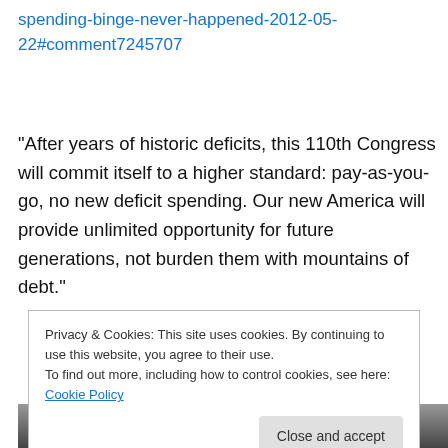spending-binge-never-happened-2012-05-22#comment7245707
“After years of historic deficits, this 110th Congress will commit itself to a higher standard: pay-as-you-go, no new deficit spending. Our new America will provide unlimited opportunity for future generations, not burden them with mountains of debt.”
– New Speaker Nancy Pelosi, 01/04/2007
Privacy & Cookies: This site uses cookies. By continuing to use this website, you agree to their use.
To find out more, including how to control cookies, see here: Cookie Policy
[Figure (photo): Partial photo strip at bottom of page, showing people, mostly obscured]